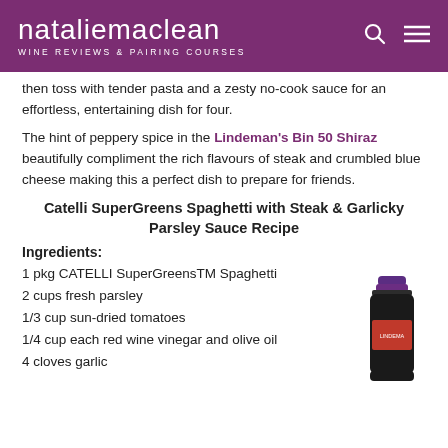nataliemaclean WINE REVIEWS & PAIRING COURSES
then toss with tender pasta and a zesty no-cook sauce for an effortless, entertaining dish for four.

The hint of peppery spice in the Lindeman's Bin 50 Shiraz beautifully compliment the rich flavours of steak and crumbled blue cheese making this a perfect dish to prepare for friends.
Catelli SuperGreens Spaghetti with Steak & Garlicky Parsley Sauce Recipe
Ingredients:
1 pkg CATELLI SuperGreensTM Spaghetti
2 cups fresh parsley
1/3 cup sun-dried tomatoes
1/4 cup each red wine vinegar and olive oil
4 cloves garlic
[Figure (photo): Wine bottle of Lindeman's Bin 50 Shiraz, partially visible on the right side]